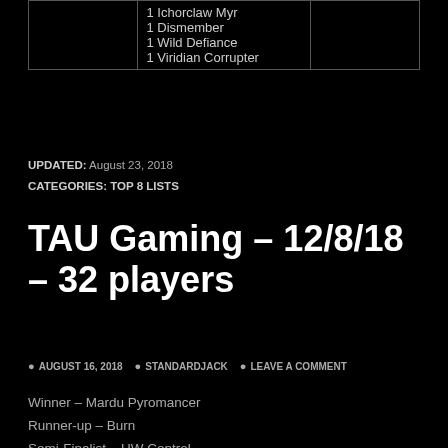|  |  |  |
| --- | --- | --- |
|  | 1 Ichorclaw Myr
1 Dismember
1 Wild Defiance
1 Viridian Corrupter |  |
UPDATED: August 23, 2018
CATEGORIES: TOP 8 LISTS
TAU Gaming – 12/8/18 – 32 players
AUGUST 16, 2018   STANDARDJACK   LEAVE A COMMENT
Winner – Mardu Pyromancer
Runner-up – Burn
Semi-Finalist – UW Control
Semi-Finalist – UR Gifts Storm
Quarter-Finalist – Jeskai Control